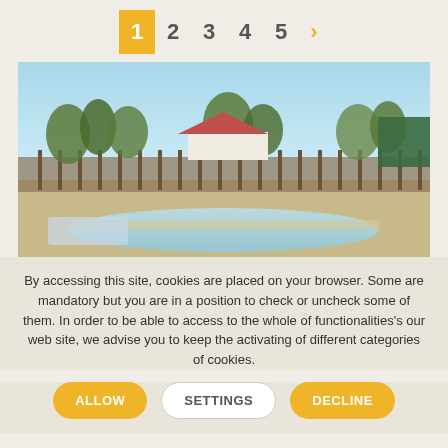1 2 3 4 5 >
[Figure (photo): Outdoor swimming pool area with clear blue sky, trees in background, fence, and a building with red roof visible behind the fence.]
By accessing this site, cookies are placed on your browser. Some are mandatory but you are in a position to check or uncheck some of them. In order to be able to access to the whole of functionalities's our web site, we advise you to keep the activating of different categories of cookies.
ALLOW   SETTINGS   DECLINE